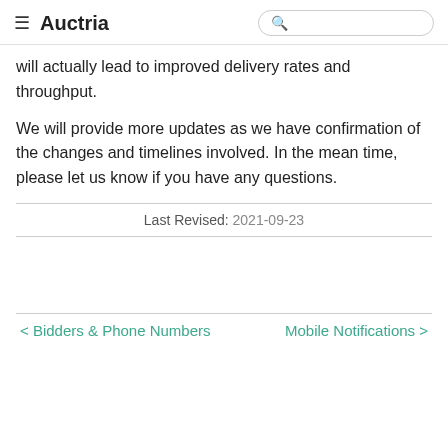Auctria
will actually lead to improved delivery rates and throughput.
We will provide more updates as we have confirmation of the changes and timelines involved. In the mean time, please let us know if you have any questions.
Last Revised: 2021-09-23
< Bidders & Phone Numbers   Mobile Notifications >